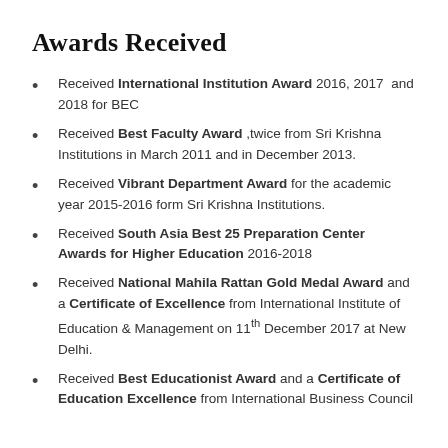Awards Received
Received International Institution Award 2016, 2017 and 2018 for BEC
Received Best Faculty Award ,twice from Sri Krishna Institutions in March 2011 and in December 2013.
Received Vibrant Department Award for the academic year 2015-2016 form Sri Krishna Institutions.
Received South Asia Best 25 Preparation Center Awards for Higher Education 2016-2018
Received National Mahila Rattan Gold Medal Award and a Certificate of Excellence from International Institute of Education & Management on 11th December 2017 at New Delhi.
Received Best Educationist Award and a Certificate of Education Excellence from International Business Council